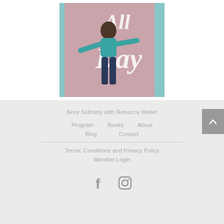[Figure (photo): Book cover showing a woman in a teal top and jeans on a pink background with white script text reading 'All Day']
Sexy Sobriety with Rebecca Weller
Program
Books
About
Blog
Contact
Terms, Conditions and Privacy Policy
Member Login